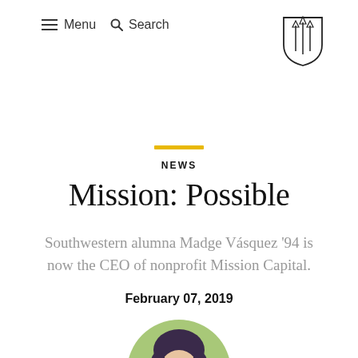≡ Menu  🔍 Search
[Figure (logo): Southwestern University shield logo — outline of a shield shape with two pencil/candle-like vertical shapes inside]
NEWS
Mission: Possible
Southwestern alumna Madge Vásquez '94 is now the CEO of nonprofit Mission Capital.
February 07, 2019
[Figure (photo): Circular portrait photo of a woman with short dark hair wearing glasses, outdoors with green background — partially cropped at bottom of page]